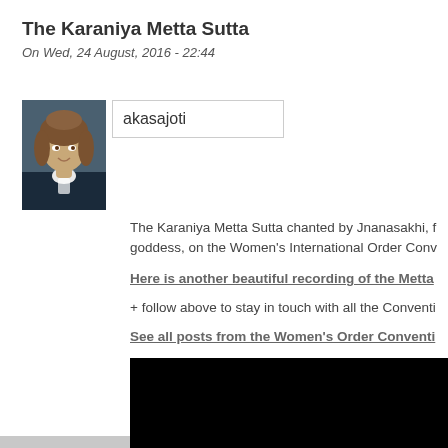The Karaniya Metta Sutta
On Wed, 24 August, 2016 - 22:44
[Figure (photo): Profile photo of a woman with curly hair wearing a dark jacket]
akasajoti
The Karaniya Metta Sutta chanted by Jnanasakhi, f... goddess, on the Women's International Order Conv...
Here is another beautiful recording of the Metta
+ follow above to stay in touch with all the Conventi...
See all posts from the Women's Order Conventi...
Follow on Facebook
[Figure (screenshot): Black video player embed area]